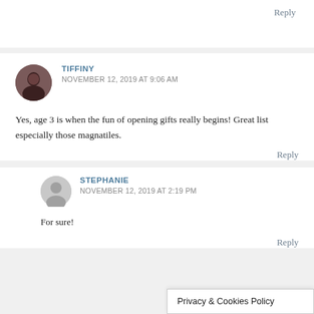Reply
TIFFINY
NOVEMBER 12, 2019 AT 9:06 AM
Yes, age 3 is when the fun of opening gifts really begins! Great list especially those magnatiles.
Reply
STEPHANIE
NOVEMBER 12, 2019 AT 2:19 PM
For sure!
Reply
Privacy & Cookies Policy